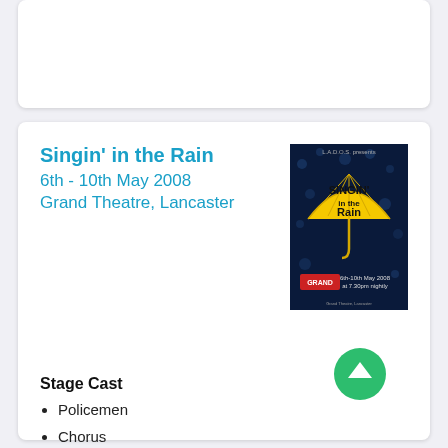Singin' in the Rain
6th - 10th May 2008
Grand Theatre, Lancaster
[Figure (photo): Promotional poster for 'Singin' in the Rain' showing a yellow umbrella with rain drops and text '6th-10th May 2008 at 7.30pm nightly' at the Grand Theatre. L.A.D.O.S. presents.]
Stage Cast
Policemen
Chorus